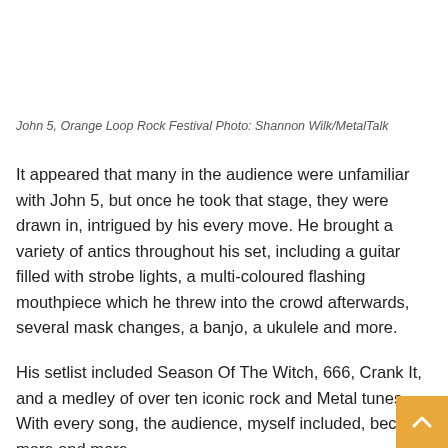John 5, Orange Loop Rock Festival Photo: Shannon Wilk/MetalTalk
It appeared that many in the audience were unfamiliar with John 5, but once he took that stage, they were drawn in, intrigued by his every move. He brought a variety of antics throughout his set, including a guitar filled with strobe lights, a multi-coloured flashing mouthpiece which he threw into the crowd afterwards, several mask changes, a banjo, a ukulele and more.
His setlist included Season Of The Witch, 666, Crank It, and a medley of over ten iconic rock and Metal tunes. With every song, the audience, myself included, became more and more